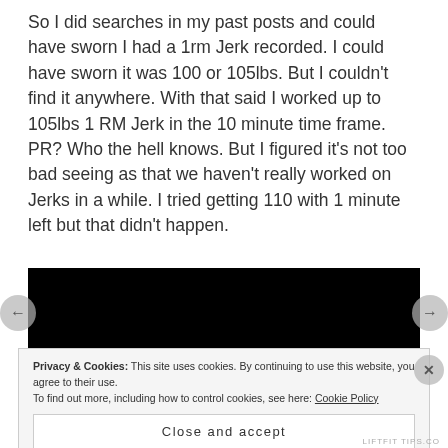So I did searches in my past posts and could have sworn I had a 1rm Jerk recorded. I could have sworn it was 100 or 105lbs. But I couldn't find it anywhere. With that said I worked up to 105lbs 1 RM Jerk in the 10 minute time frame. PR? Who the hell knows. But I figured it's not too bad seeing as that we haven't really worked on Jerks in a while. I tried getting 110 with 1 minute left but that didn't happen.
[Figure (photo): Black video/image block, likely an embedded video player with black background]
Privacy & Cookies: This site uses cookies. By continuing to use this website, you agree to their use. To find out more, including how to control cookies, see here: Cookie Policy
Close and accept